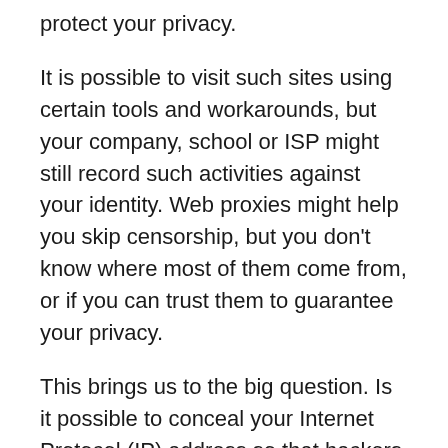protect your privacy.
It is possible to visit such sites using certain tools and workarounds, but your company, school or ISP might still record such activities against your identity. Web proxies might help you skip censorship, but you don't know where most of them come from, or if you can trust them to guarantee your privacy.
This brings us to the big question. Is it possible to conceal your Internet Protocol (IP) address so that hackers and authorities can't recognize you, and still surf safely? The answer is yes, and a VPN is your solution,